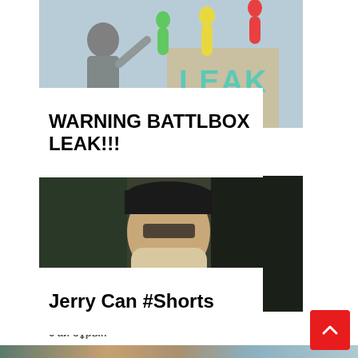[Figure (photo): Thumbnail image showing a person raising an arm with colorful inflatable tube men in background and large 'LEAK' text visible]
WARNING BATTLBOX LEAK!!!
3 жыл бұрын
[Figure (photo): Thumbnail image showing a man with a long grey beard wearing a dark cap and blue shirt]
Jerry Can #Shorts
6 ай бұрын